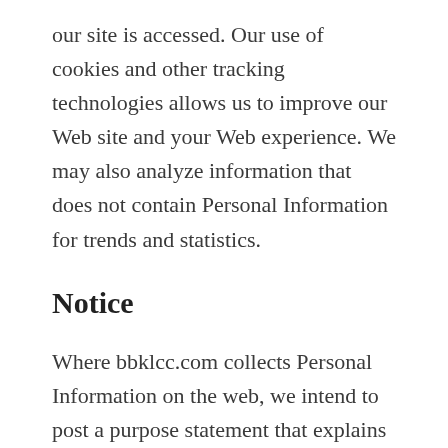our site is accessed. Our use of cookies and other tracking technologies allows us to improve our Web site and your Web experience. We may also analyze information that does not contain Personal Information for trends and statistics.
Notice
Where bbklcc.com collects Personal Information on the web, we intend to post a purpose statement that explains why Personal Information will be collected and whether we plan to share such Personal Information outside of bbklcc.com or those working on bbklcc.com's